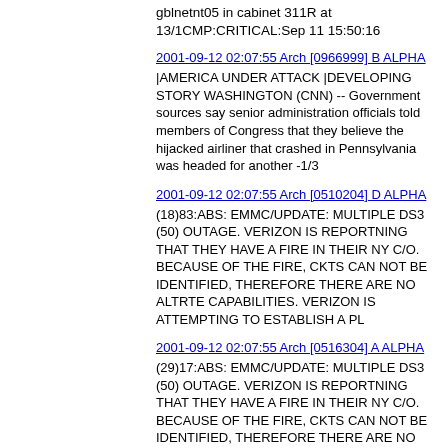gblnetnt05 in cabinet 311R at 13/1CMP:CRITICAL:Sep 11 15:50:16
2001-09-12 02:07:55 Arch [0966999] B ALPHA
|AMERICA UNDER ATTACK |DEVELOPING STORY WASHINGTON (CNN) -- Government sources say senior administration officials told members of Congress that they believe the hijacked airliner that crashed in Pennsylvania was headed for another -1/3
2001-09-12 02:07:55 Arch [0510204] D ALPHA
(18)83:ABS: EMMC/UPDATE: MULTIPLE DS3 (50) OUTAGE. VERIZON IS REPORTNING THAT THEY HAVE A FIRE IN THEIR NY C/O. BECAUSE OF THE FIRE, CKTS CAN NOT BE IDENTIFIED, THEREFORE THERE ARE NO ALTRTE CAPABILITIES. VERIZON IS ATTEMPTING TO ESTABLISH A PL
2001-09-12 02:07:55 Arch [0516304] A ALPHA
(29)17:ABS: EMMC/UPDATE: MULTIPLE DS3 (50) OUTAGE. VERIZON IS REPORTNING THAT THEY HAVE A FIRE IN THEIR NY C/O. BECAUSE OF THE FIRE, CKTS CAN NOT BE IDENTIFIED, THEREFORE THERE ARE NO ALTRTE CAPABILITIES. VERIZON IS ATTEMPTING TO ESTABLISH A PL